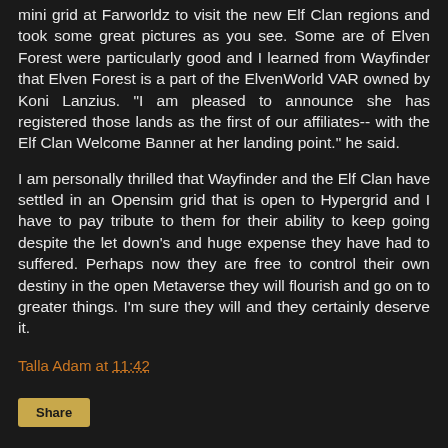mini grid at Farworldz to visit the new Elf Clan regions and took some great pictures as you see. Some are of Elven Forest were particularly good and I learned from Wayfinder that Elven Forest is a part of the ElvenWorld VAR owned by Koni Lanzius. "I am pleased to announce she has registered those lands as the first of our affiliates-- with the Elf Clan Welcome Banner at her landing point." he said.
I am personally thrilled that Wayfinder and the Elf Clan have settled in an Opensim grid that is open to Hypergrid and I have to pay tribute to them for their ability to keep going despite the let down's and huge expense they have had to suffered. Perhaps now they are free to control their own destiny in the open Metaverse they will flourish and go on to greater things. I'm sure they will and they certainly deserve it.
Talla Adam at 11:42
Share